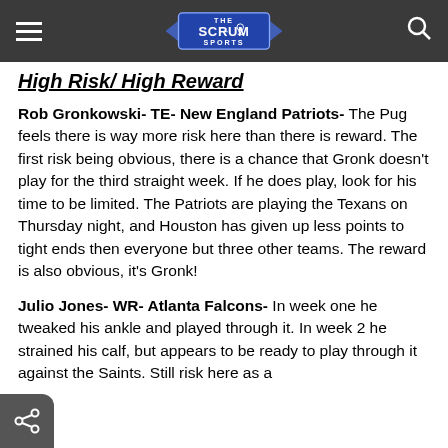The Scrum Sports
High Risk/ High Reward
Rob Gronkowski- TE- New England Patriots- The Pug feels there is way more risk here than there is reward. The first risk being obvious, there is a chance that Gronk doesn't play for the third straight week. If he does play, look for his time to be limited. The Patriots are playing the Texans on Thursday night, and Houston has given up less points to tight ends then everyone but three other teams. The reward is also obvious, it's Gronk!
Julio Jones- WR- Atlanta Falcons- In week one he tweaked his ankle and played through it. In week 2 he strained his calf, but appears to be ready to play through it against the Saints. Still risk here as a